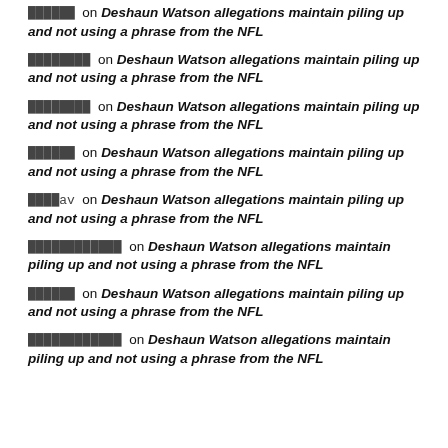██████ on Deshaun Watson allegations maintain piling up and not using a phrase from the NFL
████████ on Deshaun Watson allegations maintain piling up and not using a phrase from the NFL
████████ on Deshaun Watson allegations maintain piling up and not using a phrase from the NFL
██████ on Deshaun Watson allegations maintain piling up and not using a phrase from the NFL
████av on Deshaun Watson allegations maintain piling up and not using a phrase from the NFL
████████████ on Deshaun Watson allegations maintain piling up and not using a phrase from the NFL
██████ on Deshaun Watson allegations maintain piling up and not using a phrase from the NFL
████████████ on Deshaun Watson allegations maintain piling up and not using a phrase from the NFL